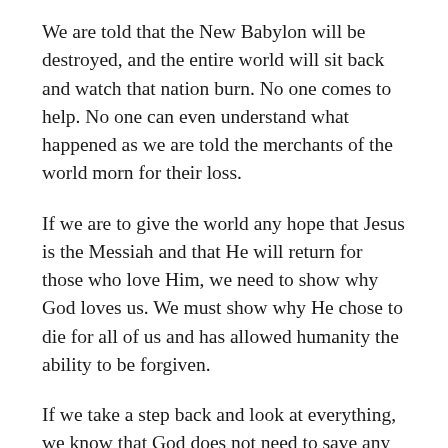We are told that the New Babylon will be destroyed, and the entire world will sit back and watch that nation burn. No one comes to help. No one can even understand what happened as we are told the merchants of the world morn for their loss.
If we are to give the world any hope that Jesus is the Messiah and that He will return for those who love Him, we need to show why God loves us. We must show why He chose to die for all of us and has allowed humanity the ability to be forgiven.
If we take a step back and look at everything, we know that God does not need to save any of us. We deserve nothing and all of us are retched and vial. We all deserve eternal punishment. When we allow ourselves to understand this, then our infighting about whose lives have more value will seem trivial. None of us have value unless God gives us value. We are only here to do His will. If we are not willing to do so, then we deserve what will come to us!